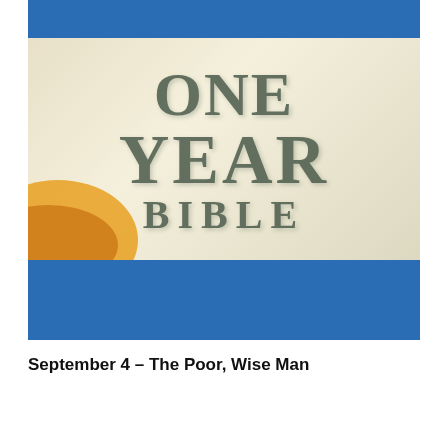[Figure (illustration): Cover of 'One Year Bible' book showing large bold text 'ONE YEAR BIBLE' on a cream/beige background with a blue bar at top and bottom, and a golden sun illustration at the lower left corner.]
September 4 – The Poor, Wise Man